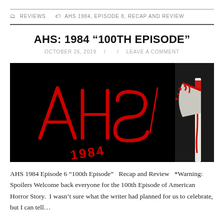REVIEWS   AHS 1984, EPISODE 8, RECAP AND REVIEW
AHS: 1984 “100TH EPISODE”
OCTOBER 26, 2019  /   /  LEAVE A COMMENT
[Figure (photo): AHS 1984 promotional image with red graffiti-style lettering on black background, showing 'AHS 1984' text logo and a bloody axe on the right side]
AHS 1984 Episode 6 “100th Episode”   Recap and Review   *Warning: Spoilers Welcome back everyone for the 100th Episode of American Horror Story.  I wasn’t sure what the writer had planned for us to celebrate, but I can tell…